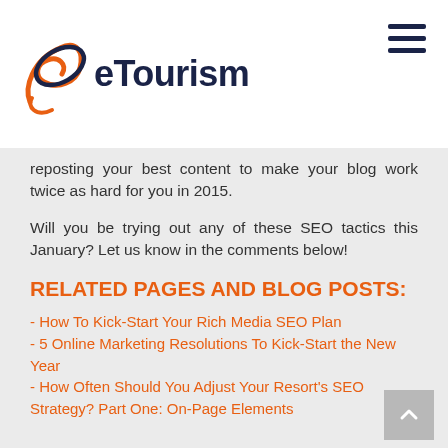eTourism
reposting your best content to make your blog work twice as hard for you in 2015.
Will you be trying out any of these SEO tactics this January? Let us know in the comments below!
RELATED PAGES AND BLOG POSTS:
- How To Kick-Start Your Rich Media SEO Plan
- 5 Online Marketing Resolutions To Kick-Start the New Year
- How Often Should You Adjust Your Resort's SEO Strategy? Part One: On-Page Elements